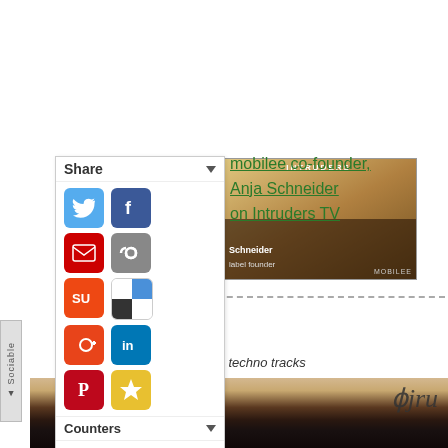[Figure (screenshot): Social sharing panel (Sociable plugin) with Share, Counters, Follow, Top, GoHome sections and social media icon buttons for Twitter, Facebook, Email, Infinite, StumbleUpon, Google+, LinkedIn, Pinterest, Star/Bookmark]
[Figure (screenshot): Video thumbnail showing label text 'Schneider' and 'label founder' on a warm-toned background]
mobilee co-founder, Anja Schneider on Intruders TV
– 'Dangerous Acid'
30th of january on Jrums
ly tainted stripped down drum techno tracks
[Figure (photo): Bottom banner image showing Jrums label branding with dark background and handwritten-style jru text]